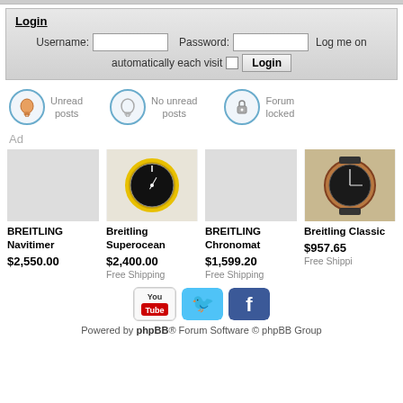Login
Username: [input] Password: [input] Log me on automatically each visit [checkbox] Login
[Figure (infographic): Three icons with labels: bell icon for Unread posts, outlined bell icon for No unread posts, lock icon for Forum locked]
Ad
[Figure (infographic): Four watch product listings: BREITLING Navitimer $2,550.00; Breitling Superocean $2,400.00 Free Shipping; BREITLING Chronomat $1,599.20 Free Shipping; Breitling Classic $957.65 Free Shipping]
[Figure (logo): YouTube, Twitter, and Facebook social media icons]
Powered by phpBB® Forum Software © phpBB Group